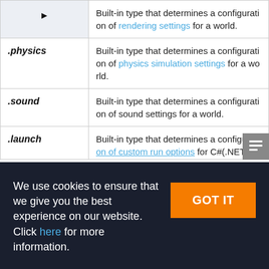| Name | Description |
| --- | --- |
| der | Built-in type that determines a configuration of rendering settings for a world. |
| .physics | Built-in type that determines a configuration of physics simulation settings for a world. |
| .sound | Built-in type that determines a configuration of sound settings for a world. |
| .launch | Built-in type that determines a configuration of custom run options for C#(.NET 5)... |
We use cookies to ensure that we give you the best experience on our website. Click here for more information.